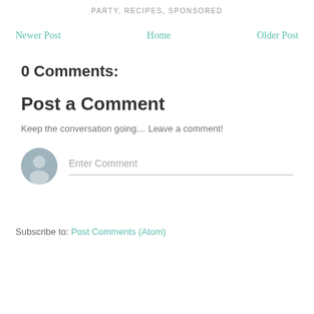PARTY, RECIPES, SPONSORED
Newer Post   Home   Older Post
0 Comments:
Post a Comment
Keep the conversation going… Leave a comment!
[Figure (illustration): Generic user avatar icon (grey silhouette of a person on a blue-grey circular background) next to an 'Enter Comment' placeholder text field with a bottom border underline.]
Subscribe to: Post Comments (Atom)